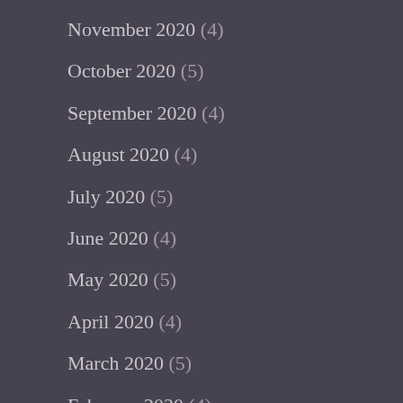November 2020 (4)
October 2020 (5)
September 2020 (4)
August 2020 (4)
July 2020 (5)
June 2020 (4)
May 2020 (5)
April 2020 (4)
March 2020 (5)
February 2020 (4)
January 2020 (5)
December 2019 (4)
November 2019 (5)
October 2019 (5)